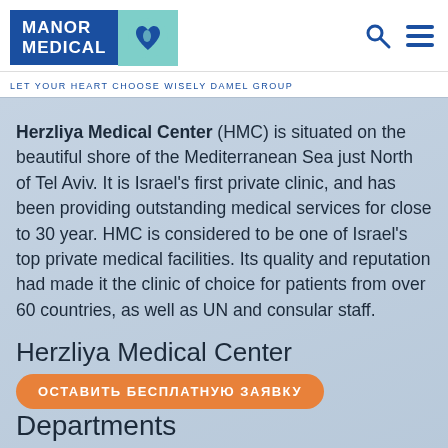[Figure (logo): Manor Medical logo with blue text box and teal icon box containing a medical/heart icon]
LET YOUR HEART CHOOSE WISELY DAMEL GROUP
Herzliya Medical Center (HMC) is situated on the beautiful shore of the Mediterranean Sea just North of Tel Aviv. It is Israel's first private clinic, and has been providing outstanding medical services for close to 30 year. HMC is considered to be one of Israel's top private medical facilities. Its quality and reputation had made it the clinic of choice for patients from over 60 countries, as well as UN and consular staff.
Herzliya Medical Center
ОСТАВИТЬ БЕСПЛАТНУЮ ЗАЯВКУ
Departments